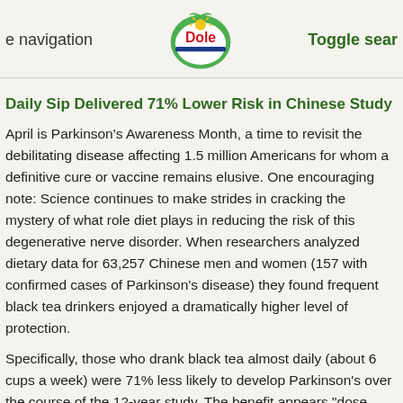e navigation   Dole   Toggle sear
Daily Sip Delivered 71% Lower Risk in Chinese Study
April is Parkinson's Awareness Month, a time to revisit the debilitating disease affecting 1.5 million Americans for whom a definitive cure or vaccine remains elusive. One encouraging note: Science continues to make strides in cracking the mystery of what role diet plays in reducing the risk of this degenerative nerve disorder. When researchers analyzed dietary data for 63,257 Chinese men and women (157 with confirmed cases of Parkinson's disease) they found frequent black tea drinkers enjoyed a dramatically higher level of protection.
Specifically, those who drank black tea almost daily (about 6 cups a week) were 71% less likely to develop Parkinson's over the course of the 12-year study. The benefit appears "dose